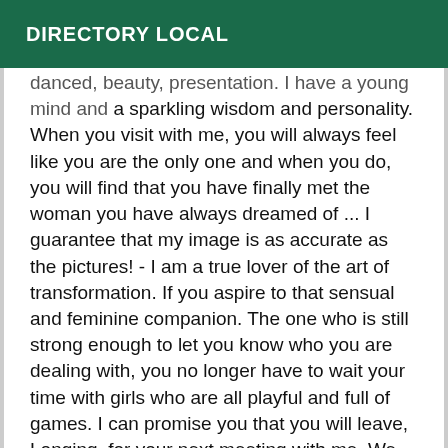DIRECTORY LOCAL
...danced, beauty, presentation. I have a young mind and a sparkling wisdom and personality. When you visit with me, you will always feel like you are the only one and when you do, you will find that you have finally met the woman you have always dreamed of ... I guarantee that my image is as accurate as the pictures! - I am a true lover of the art of transformation. If you aspire to that sensual and feminine companion. The one who is still strong enough to let you know who you are dealing with, you no longer have to wait your time with girls who are all playful and full of games. I can promise you that you will leave, Longing, for your next meeting with me. We never rush and my conversation will be just as captivating as my appearance. ❤ SATISFACTION ALWAYS GUARANTEED ❤ 🔞Une hot girl with a big surprise just waiting for you ! - Beautiful, feminine, very horny and lends EVERYTHING TEMPS🔞 I speak: FR 🔸 IT 🔸 PT 🔸 PT 🔸 ES 🔸 My fees are 100% non-negotiable, as